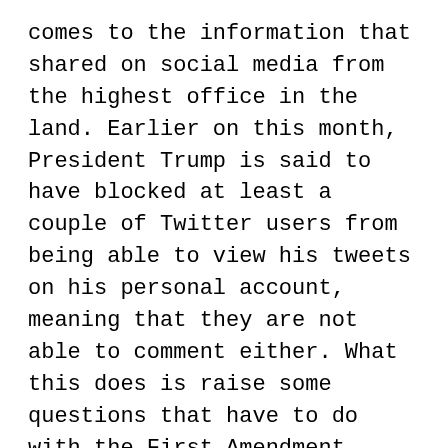comes to the information that shared on social media from the highest office in the land. Earlier on this month, President Trump is said to have blocked at least a couple of Twitter users from being able to view his tweets on his personal account, meaning that they are not able to comment either. What this does is raise some questions that have to do with the First Amendment.
Representative Quigley is a Democrat that represents the North Side in Chicago and a few of the suburbs to the west. He was a sponsor of another piece of legislation that has the clever moniker, Mar-A-Lago, or the Making Access Records Available to Lead American